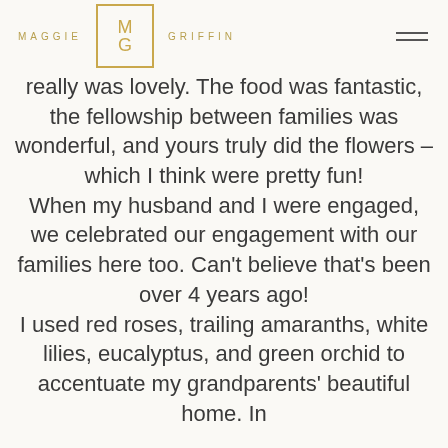MAGGIE GRIFFIN
really was lovely. The food was fantastic, the fellowship between families was wonderful, and yours truly did the flowers – which I think were pretty fun! When my husband and I were engaged, we celebrated our engagement with our families here too. Can't believe that's been over 4 years ago! I used red roses, trailing amaranths, white lilies, eucalyptus, and green orchid to accentuate my grandparents' beautiful home. In